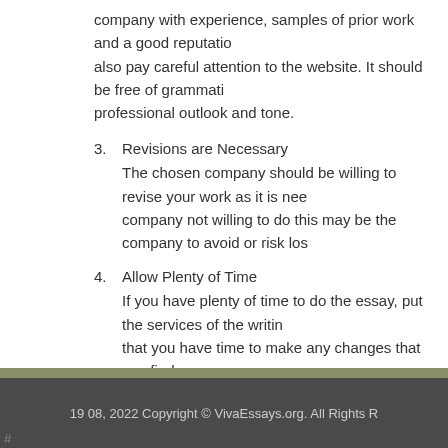company with experience, samples of prior work and a good reputation. also pay careful attention to the website. It should be free of grammatical errors, professional outlook and tone.
3. Revisions are Necessary
The chosen company should be willing to revise your work as it is needed. A company not willing to do this may be the company to avoid or risk losing money.
4. Allow Plenty of Time
If you have plenty of time to do the essay, put the services of the writing company to good use. Ensure that you have time to make any changes that you find necessary as well as proofing for accuracy, errors, etc.
There are a number of essay writing companies out there ready and willing to help you. Take time to find the best.
19 08, 2022 Copyright © VivaEssays.org. All Rights Reserved.